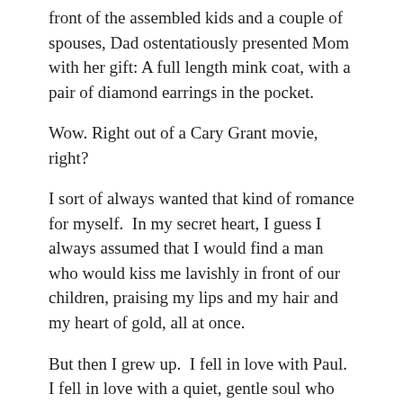front of the assembled kids and a couple of spouses, Dad ostentatiously presented Mom with her gift: A full length mink coat, with a pair of diamond earrings in the pocket.
Wow. Right out of a Cary Grant movie, right?
I sort of always wanted that kind of romance for myself.  In my secret heart, I guess I always assumed that I would find a man who would kiss me lavishly in front of our children, praising my lips and my hair and my heart of gold, all at once.
But then I grew up.  I fell in love with Paul.  I fell in love with a quiet, gentle soul who tended to avoid the limelight.